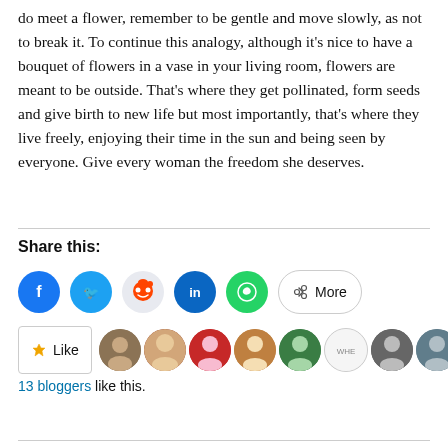do meet a flower, remember to be gentle and move slowly, as not to break it. To continue this analogy, although it's nice to have a bouquet of flowers in a vase in your living room, flowers are meant to be outside. That's where they get pollinated, form seeds and give birth to new life but most importantly, that's where they live freely, enjoying their time in the sun and being seen by everyone. Give every woman the freedom she deserves.
Share this:
[Figure (infographic): Social sharing buttons: Facebook (blue circle), Twitter (blue circle), Reddit (light grey circle), LinkedIn (teal circle), WhatsApp (green circle), and a 'More' pill button with share icon.]
[Figure (infographic): Like button with star icon, followed by a row of 10 avatar thumbnails representing bloggers who liked the post.]
13 bloggers like this.